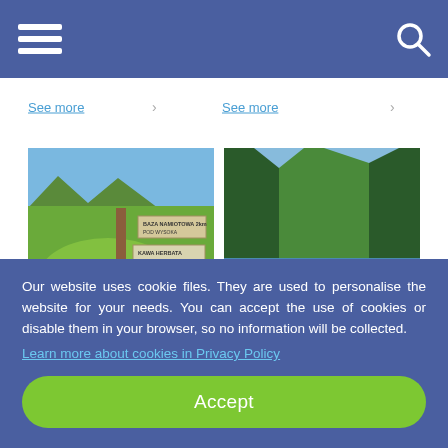Navigation header with hamburger menu and search icon
See more
See more
[Figure (photo): Wooden trail sign in a green meadow with mountains, text: BAZA NAMIOTOWA POD WYSOKA 2km, KAWA HERBATA, SCHRONIENIE, PRSER, SOŚTUN, NKBK, CEPTOM ORBLION]
[Figure (photo): People rafting on a river with steep forested mountain gorge walls]
Our website uses cookie files. They are used to personalise the website for your needs. You can accept the use of cookies or disable them in your browser, so no information will be collected. Learn more about cookies in Privacy Policy
Accept